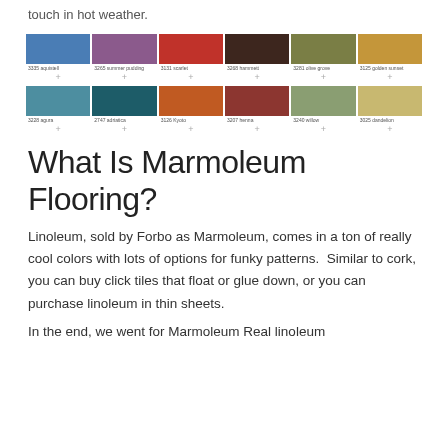touch in hot weather.
[Figure (illustration): A 2-row, 6-column grid of Marmoleum flooring color swatches. Top row: 3335 aquistell (blue), 3265 summer pudding (purple), 3131 scarlet (red), 3268 hammett (dark brown), 3281 olive grove (olive green), 3125 golden sunset (gold/yellow). Bottom row: 3228 aguro (teal blue), 2747 adriatica (dark teal), 3126 Kyoto (orange), 3207 henna (dark red), 3240 willow (sage green), 3025 dandelion (yellow/cream). Each swatch has a + button below.]
What Is Marmoleum Flooring?
Linoleum, sold by Forbo as Marmoleum, comes in a ton of really cool colors with lots of options for funky patterns.  Similar to cork, you can buy click tiles that float or glue down, or you can purchase linoleum in thin sheets.
In the end, we went for Marmoleum Real linoleum